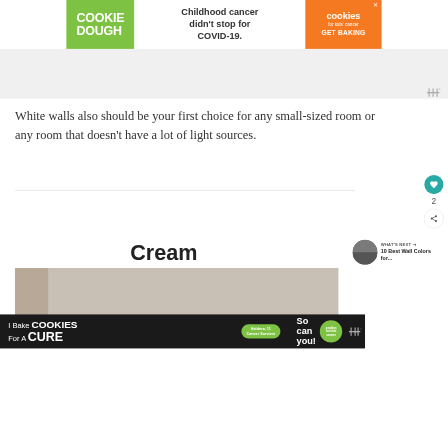[Figure (screenshot): Top advertisement banner for Cookie Dough / Cookies for Kids Cancer charity. Green left panel with 'COOKIE DOUGH' text, white center with 'Childhood cancer didn't stop for COVID-19.', orange right panel with cookies logo and 'GET BAKING' CTA.]
White walls also should be your first choice for any small-sized room or any room that doesn't have a lot of light sources.
Cream
[Figure (photo): Partially visible interior room photo showing cream-colored walls, beginning of a home interior scene.]
[Figure (screenshot): Bottom advertisement banner: 'I Bake COOKIES For A CURE' with Haldora, 11 Cancer Survivor badge, person photo, 'So can you!' text, and cookies for kids cancer circle logo. Black background.]
[Figure (infographic): What's Next panel showing circular thumbnail image and text '10 Best Wall Colors for...']